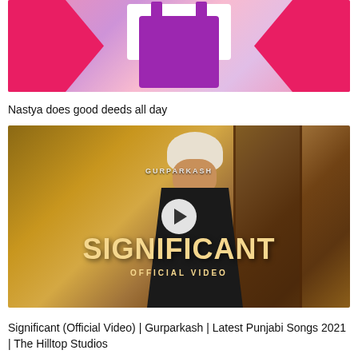[Figure (photo): Thumbnail of a child in purple overalls being held up by adult hands in a pink outfit, covering the child's face]
Nastya does good deeds all day
[Figure (screenshot): YouTube video thumbnail for 'Significant' official video by Gurparkash. Shows a man in a white turban and dark jacket with bold golden text 'SIGNIFICANT' and 'OFFICIAL VIDEO' overlay. A play button circle is visible in the center.]
Significant (Official Video) | Gurparkash | Latest Punjabi Songs 2021 | The Hilltop Studios